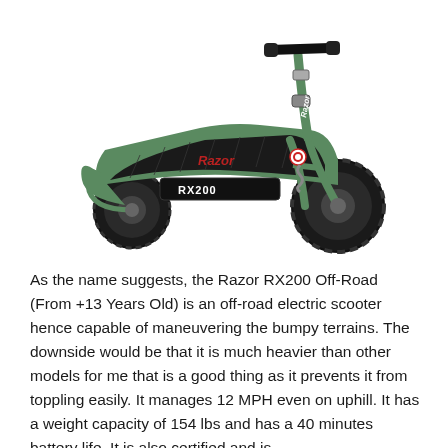[Figure (photo): A green and black Razor RX200 electric off-road scooter with large black pneumatic front tire, textured black deck, green frame, handlebar, and battery pack labeled RX200 underneath the deck. The scooter is shown at an angle facing right.]
As the name suggests, the Razor RX200 Off-Road (From +13 Years Old) is an off-road electric scooter hence capable of maneuvering the bumpy terrains. The downside would be that it is much heavier than other models for me that is a good thing as it prevents it from toppling easily. It manages 12 MPH even on uphill. It has a weight capacity of 154 lbs and has a 40 minutes battery life. It is also certified and is